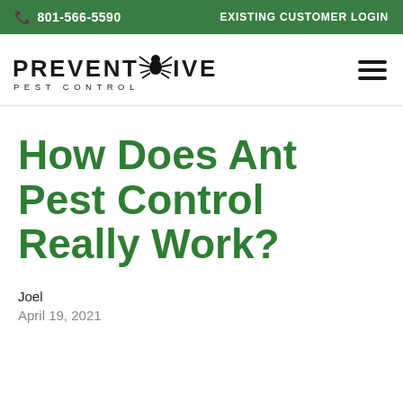📞 801-566-5590   EXISTING CUSTOMER LOGIN
[Figure (logo): Preventive Pest Control logo with spider graphic]
How Does Ant Pest Control Really Work?
Joel
April 19, 2021